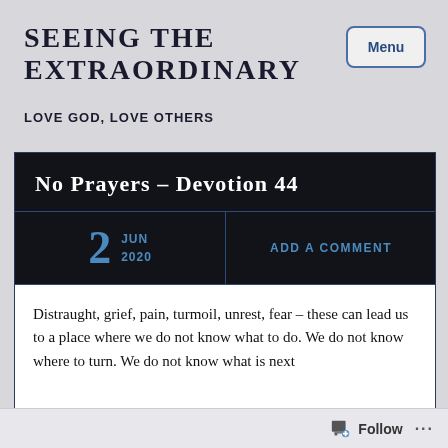SEEING THE EXTRAORDINARY
LOVE GOD, LOVE OTHERS
No Prayers – Devotion 44
2 JUN 2020
ADD A COMMENT
Distraught, grief, pain, turmoil, unrest, fear – these can lead us to a place where we do not know what to do.  We do not know where to turn.  We do not know what is next
Follow ...